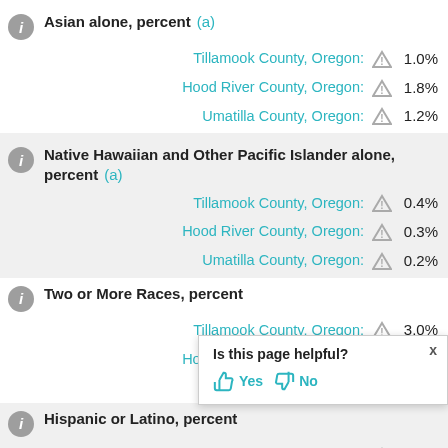Asian alone, percent (a)
Tillamook County, Oregon: 1.0%
Hood River County, Oregon: 1.8%
Umatilla County, Oregon: 1.2%
Native Hawaiian and Other Pacific Islander alone, percent (a)
Tillamook County, Oregon: 0.4%
Hood River County, Oregon: 0.3%
Umatilla County, Oregon: 0.2%
Two or More Races, percent
Tillamook County, Oregon: 3.0%
Hood River County, Oregon: 2.9%
Umatilla County, Oregon: 2.9%
Hispanic or Latino, percent (a)
Tillamook County, Oregon: [value cut off]